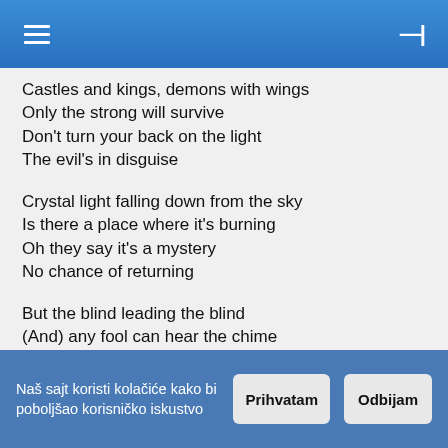☰  ⊣
Castles and kings, demons with wings
Only the strong will survive
Don't turn your back on the light
The evil's in disguise
Crystal light falling down from the sky
Is there a place where it's burning
Oh they say it's a mystery
No chance of returning
But the blind leading the blind
(And) any fool can hear the chime
When the reaper cries, the spell is gone
You're on a magical ride
But the blind leading the blind
(And) any fool can hear the chime
When the reaper cries, the spell is gone
You're on a magical ride
Naš sajt koristi kolačiće kako bi poboljšao korisničko iskustvo  Prihvatam  Odbijam